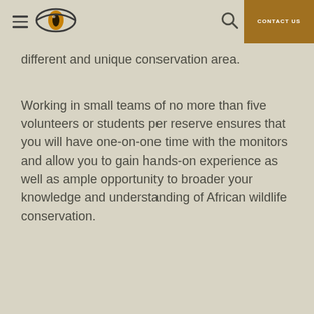CONTACT US
different and unique conservation area.
Working in small teams of no more than five volunteers or students per reserve ensures that you will have one-on-one time with the monitors and allow you to gain hands-on experience as well as ample opportunity to broader your knowledge and understanding of African wildlife conservation.